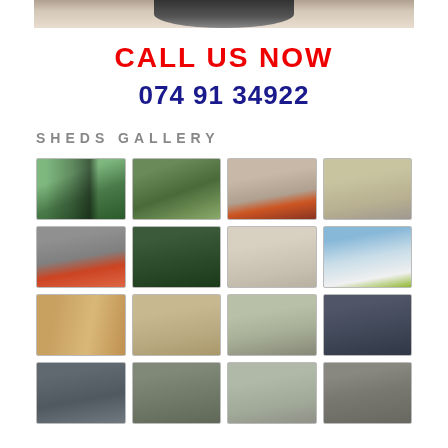[Figure (photo): Cropped top of a photo showing a person, only lower portion visible]
CALL US NOW
074 91 34922
SHEDS GALLERY
[Figure (photo): Grid of shed/metal building gallery photos, 4 columns x 4 rows showing various metal sheds and garages in different styles and colors]